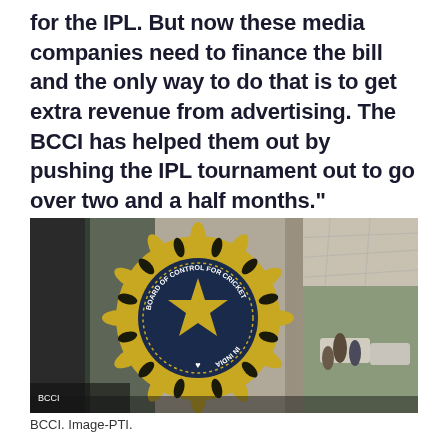for the IPL. But now these media companies need to finance the bill and the only way to do that is to get extra revenue from advertising. The BCCI has helped them out by pushing the IPL tournament out to go over two and a half months."
[Figure (photo): Photograph of the BCCI (Board of Control for Cricket in India) logo — a large golden emblem with a star in the center mounted on a glass wall of a building. On the right side of the image, people are seen standing under a covered walkway outside what appears to be a modern building, with cars parked in the background.]
BCCI. Image-PTI.